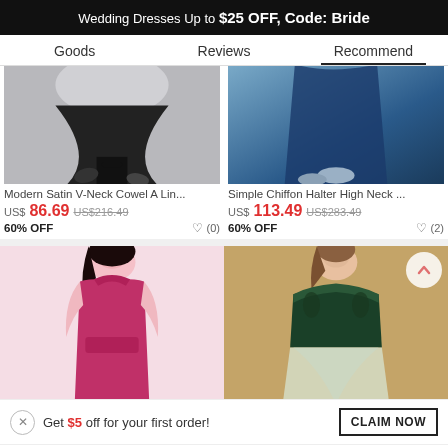Wedding Dresses Up to $25 OFF, Code: Bride
Goods  Reviews  Recommend
[Figure (photo): Product photo of a black satin dress (lower half visible), model wearing heels]
Modern Satin V-Neck Cowel A Lin...
US$86.69  US$216.49
60% OFF  ♡ (0)
[Figure (photo): Product photo of a navy blue chiffon halter dress (lower half visible), model wearing heels]
Simple Chiffon Halter High Neck ...
US$113.49  US$283.49
60% OFF  ♡ (2)
[Figure (photo): Product photo of a magenta/fuchsia halter dress, model shown from waist up]
[Figure (photo): Product photo of a dark green off-shoulder ballgown with tulle, model shown from waist up against a beige background]
Get $5 off for your first order!
CLAIM NOW
Live Chat  Like  ADD TO BAG